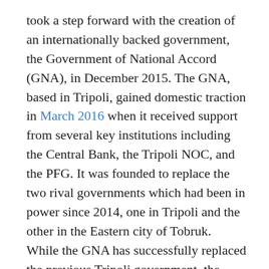took a step forward with the creation of an internationally backed government, the Government of National Accord (GNA), in December 2015. The GNA, based in Tripoli, gained domestic traction in March 2016 when it received support from several key institutions including the Central Bank, the Tripoli NOC, and the PFG. It was founded to replace the two rival governments which had been in power since 2014, one in Tripoli and the other in the Eastern city of Tobruk. While the GNA has successfully replaced the previous Tripoli government, the National Salvation Government (NSG), it has yet to be endorsed by the rival government, the House of Representatives, the former elected parliament that moved to Tobruk after the NSG took power. The remnants of Libya's army, under the command of General Khalifa Haftar, support the Tobruk government, leaving the GNA